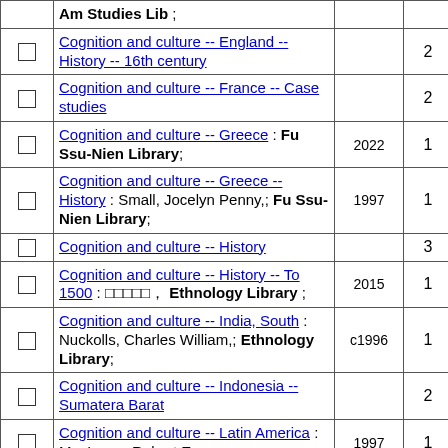|  | Description | Year | Count |
| --- | --- | --- | --- |
|  | Am Studies Lib ; |  |  |
| ☐ | Cognition and culture -- England -- History -- 16th century |  | 2 |
| ☐ | Cognition and culture -- France -- Case studies |  | 2 |
| ☐ | Cognition and culture -- Greece : Fu Ssu-Nien Library; | 2022 | 1 |
| ☐ | Cognition and culture -- Greece -- History : Small, Jocelyn Penny,; Fu Ssu-Nien Library; | 1997 | 1 |
| ☐ | Cognition and culture -- History |  | 3 |
| ☐ | Cognition and culture -- History -- To 1500 : □□□□□, Ethnology Library ; | 2015 | 1 |
| ☐ | Cognition and culture -- India, South : Nuckolls, Charles William,; Ethnology Library; | c1996 | 1 |
| ☐ | Cognition and culture -- Indonesia -- Sumatera Barat |  | 2 |
| ☐ | Cognition and culture -- Latin America : MacLaury, Robert E.,; □□□□□; | 1997 | 1 |
| ☐ | Cognition and culture -- Madagascar : Bloch, Maurice; Fu Ssu-Nien Library, Ethnology Library ; | 1989 | 1 |